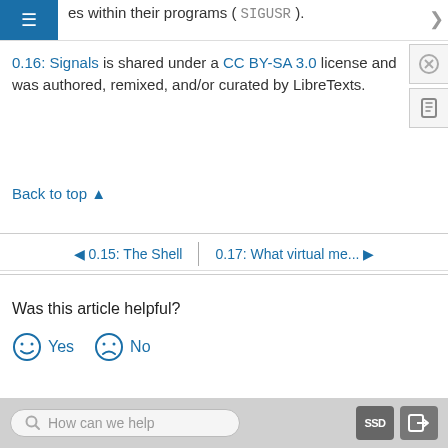reserved for users to use for their own es within their programs ( SIGUSR ).
0.16: Signals is shared under a CC BY-SA 3.0 license and was authored, remixed, and/or curated by LibreTexts.
Back to top ▲
◄ 0.15: The Shell | 0.17: What virtual me... ►
Was this article helpful?
😊 Yes   ☹ No
How can we help